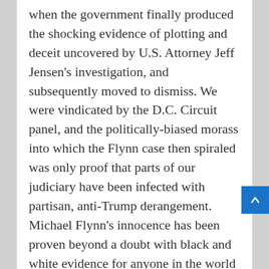when the government finally produced the shocking evidence of plotting and deceit uncovered by U.S. Attorney Jeff Jensen's investigation, and subsequently moved to dismiss. We were vindicated by the D.C. Circuit panel, and the politically-biased morass into which the Flynn case then spiraled was only proof that parts of our judiciary have been infected with partisan, anti-Trump derangement. Michael Flynn's innocence has been proven beyond a doubt with black and white evidence for anyone in the world to examine.
Although I was not able to commit to any election litigation in the last month, I was able to help put together teams of